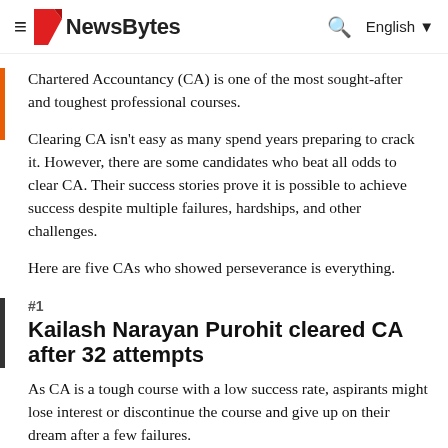NewsBytes
Chartered Accountancy (CA) is one of the most sought-after and toughest professional courses.
Clearing CA isn't easy as many spend years preparing to crack it. However, there are some candidates who beat all odds to clear CA. Their success stories prove it is possible to achieve success despite multiple failures, hardships, and other challenges.
Here are five CAs who showed perseverance is everything.
#1
Kailash Narayan Purohit cleared CA after 32 attempts
As CA is a tough course with a low success rate, aspirants might lose interest or discontinue the course and give up on their dream after a few failures.